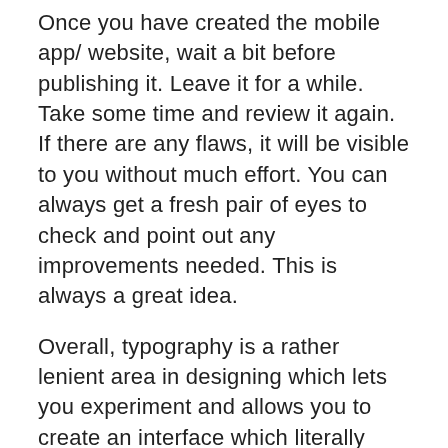Once you have created the mobile app/ website, wait a bit before publishing it. Leave it for a while. Take some time and review it again. If there are any flaws, it will be visible to you without much effort. You can always get a fresh pair of eyes to check and point out any improvements needed. This is always a great idea.
Overall, typography is a rather lenient area in designing which lets you experiment and allows you to create an interface which literally talks to your users. It depends on you on how you apply the understanding of your user base in creating a user experience which will leave your customers delighted.